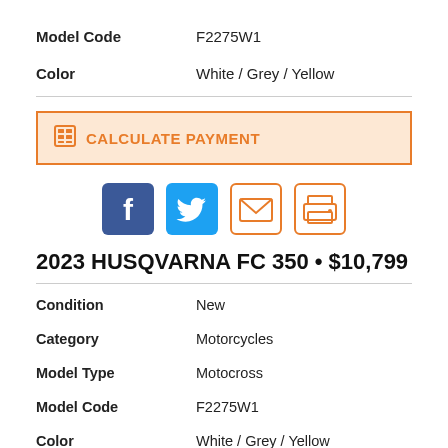Model Code: F2275W1
Color: White / Grey / Yellow
CALCULATE PAYMENT
[Figure (infographic): Social share buttons: Facebook (dark blue), Twitter (light blue), Email (orange outline), Print (orange outline)]
2023 HUSQVARNA FC 350 • $10,799
Condition: New
Category: Motorcycles
Model Type: Motocross
Model Code: F2275W1
Color: White / Grey / Yellow